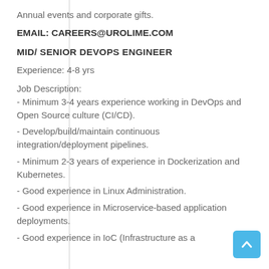Annual events and corporate gifts.
EMAIL: CAREERS@UROLIME.COM
MID/ SENIOR DEVOPS ENGINEER
Experience: 4-8 yrs
Job Description:
- Minimum 3-4 years experience working in DevOps and Open Source culture (CI/CD).
- Develop/build/maintain continuous integration/deployment pipelines.
- Minimum 2-3 years of experience in Dockerization and Kubernetes.
- Good experience in Linux Administration.
- Good experience in Microservice-based application deployments.
- Good experience in IoC (Infrastructure as a...